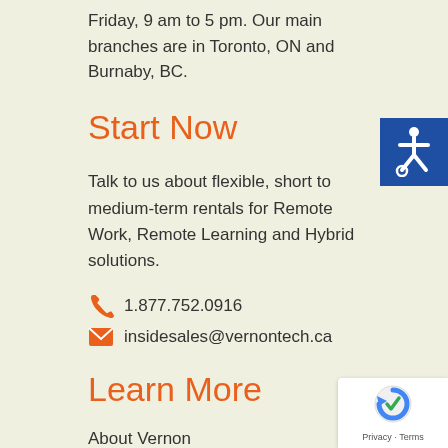Friday, 9 am to 5 pm. Our main branches are in Toronto, ON and Burnaby, BC.
Start Now
Talk to us about flexible, short to medium-term rentals for Remote Work, Remote Learning and Hybrid solutions.
1.877.752.0916
insidesales@vernontech.ca
Learn More
About Vernon
Get a Rental
Solutions
[Figure (illustration): Blue accessibility icon button with wheelchair symbol in white]
[Figure (logo): Google reCAPTCHA badge with logo and Privacy·Terms text]